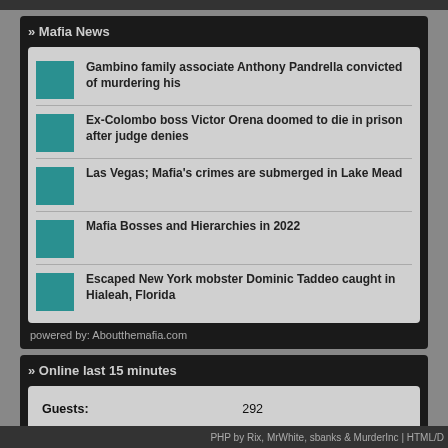» Mafia News
Gambino family associate Anthony Pandrella convicted of murdering his
Ex-Colombo boss Victor Orena doomed to die in prison after judge denies
Las Vegas; Mafia's crimes are submerged in Lake Mead
Mafia Bosses and Hierarchies in 2022
Escaped New York mobster Dominic Taddeo caught in Hialeah, Florida
powered by: Aboutthemafia.com
» Online last 15 minutes
|  |  |
| --- | --- |
| Guests: | 292 |
| Total members: | 3641 |
| Online: | 0 (0%) |
| Members: |  |
PHP by Rix, MrWhite, sbanks & MurderInc | HTML/D